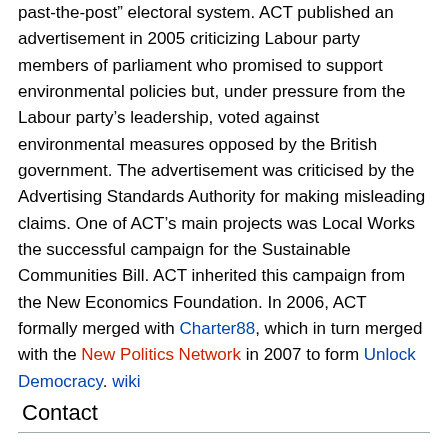past-the-post” electoral system. ACT published an advertisement in 2005 criticizing Labour party members of parliament who promised to support environmental policies but, under pressure from the Labour party’s leadership, voted against environmental measures opposed by the British government. The advertisement was criticised by the Advertising Standards Authority for making misleading claims. One of ACT’s main projects was Local Works the successful campaign for the Sustainable Communities Bill. ACT inherited this campaign from the New Economics Foundation. In 2006, ACT formally merged with Charter88, which in turn merged with the New Politics Network in 2007 to form Unlock Democracy. wiki
Contact